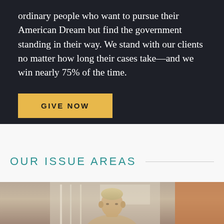ordinary people who want to pursue their American Dream but find the government standing in their way. We stand with our clients no matter how long their cases take—and we win nearly 75% of the time.
GIVE NOW
OUR ISSUE AREAS
[Figure (photo): Partial photo of a person with short light hair, visible from about the shoulders up, in front of a light-colored background with papers or fabric visible]